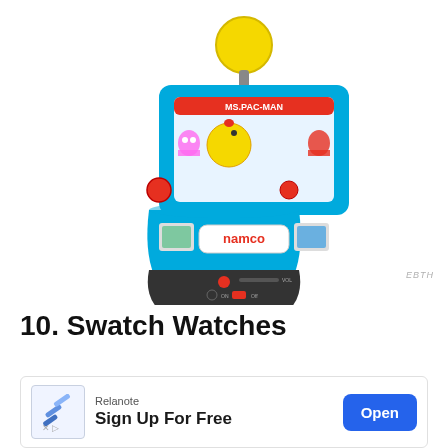[Figure (photo): A miniature Ms. Pac-Man arcade tabletop game by Namco, with a yellow joystick ball on top, blue cabinet with Ms. Pac-Man artwork on the screen, red buttons, and a black base with controls.]
EBTH
10. Swatch Watches
[Figure (screenshot): Advertisement banner for Relanote with icon, text 'Sign Up For Free', and an 'Open' button.]